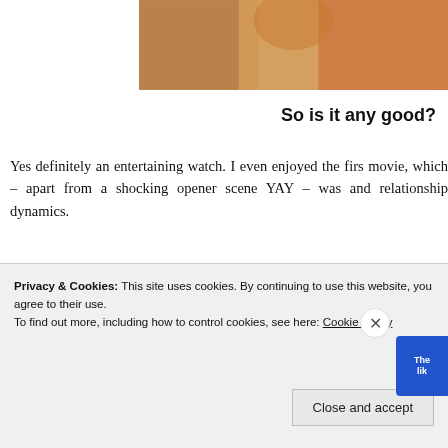[Figure (photo): Partial photo visible at top right of page, showing warm tones of orange and brown, appears to be a person or scene from a movie]
So is it any good?
Yes definitely an entertaining watch. I even enjoyed the first movie, which – apart from a shocking opener scene YAY – was and relationship dynamics.
And obviously it's nice to see a female lead in a horror film th bra off. Erin the Warrior was a cool chick and the only likab frank).
Privacy & Cookies: This site uses cookies. By continuing to use this website, you agree to their use.
To find out more, including how to control cookies, see here: Cookie Policy
Close and accept